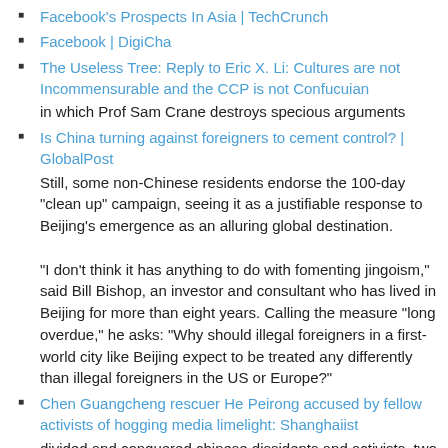Facebook's Prospects In Asia | TechCrunch
Facebook | DigiCha
The Useless Tree: Reply to Eric X. Li: Cultures are not Incommensurable and the CCP is not Confucuian
in which Prof Sam Crane destroys specious arguments
Is China turning against foreigners to cement control? | GlobalPost
Still, some non-Chinese residents endorse the 100-day “clean up” campaign, seeing it as a justifiable response to Beijing’s emergence as an alluring global destination.
“I don’t think it has anything to do with fomenting jingoism,” said Bill Bishop, an investor and consultant who has lived in Beijing for more than eight years. Calling the measure “long overdue,” he asks: “Why should illegal foreigners in a first-world city like Beijing expect to be treated any differently than illegal foreigners in the US or Europe?”
Chen Guangcheng rescuer He Peirong accused by fellow activists of hogging media limelight: Shanghaiist
divided and conquered chinese dissidents and activists. two days ago several were having a fight on twitter about who was actual a chinese government agent. hopeless?
China stimulus: a lightbulb moment | beyondbrics | News and views on emerging markets from the Financial Times - FT.com